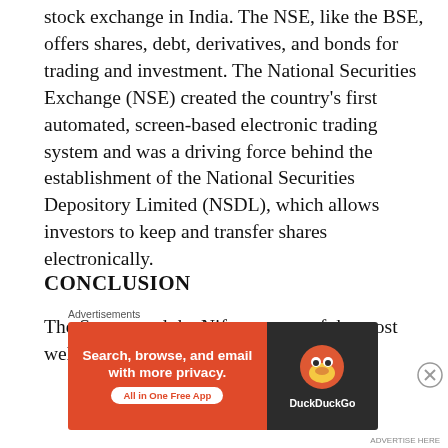stock exchange in India. The NSE, like the BSE, offers shares, debt, derivatives, and bonds for trading and investment. The National Securities Exchange (NSE) created the country's first automated, screen-based electronic trading system and was a driving force behind the establishment of the National Securities Depository Limited (NSDL), which allows investors to keep and transfer shares electronically.
CONCLUSION
The Sensex and the Nifty are two of the most well-known stock market
Advertisements
[Figure (infographic): DuckDuckGo advertisement banner: orange left panel with text 'Search, browse, and email with more privacy.' and 'All in One Free App' button; dark right panel with DuckDuckGo duck logo and brand name.]